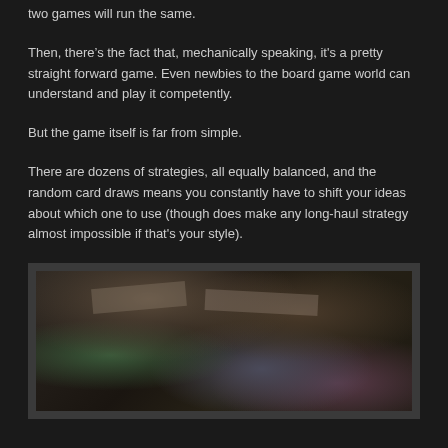two games will run the same.
Then, there’s the fact that, mechanically speaking, it's a pretty straight forward game. Even newbies to the board game world can understand and play it competently.
But the game itself is far from simple.
There are dozens of strategies, all equally balanced, and the random card draws means you constantly have to shift your ideas about which one to use (though does make any long-haul strategy almost impossible if that's your style).
[Figure (photo): Overhead view of a board game in progress, showing game cards, a game board with tokens and pieces, and players' hands visible at the edges.]